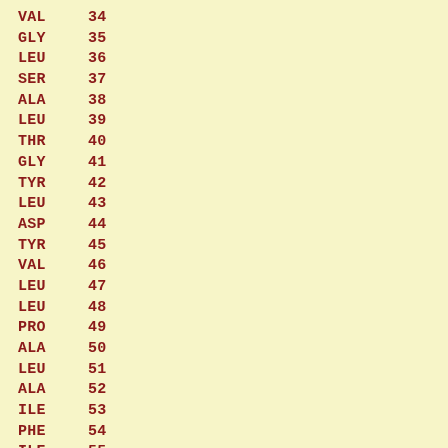| Residue | Number |
| --- | --- |
| VAL | 34 |
| GLY | 35 |
| LEU | 36 |
| SER | 37 |
| ALA | 38 |
| LEU | 39 |
| THR | 40 |
| GLY | 41 |
| TYR | 42 |
| LEU | 43 |
| ASP | 44 |
| TYR | 45 |
| VAL | 46 |
| LEU | 47 |
| LEU | 48 |
| PRO | 49 |
| ALA | 50 |
| LEU | 51 |
| ALA | 52 |
| ILE | 53 |
| PHE | 54 |
| ILE | 55 |
| GLY | 56 |
| LEU | 57 |
| THR | 58 |
| ILE | 59 |
| TYR | 60 |
| ALA | 61 |
| ILE | 62 |
| GLN | 63 |